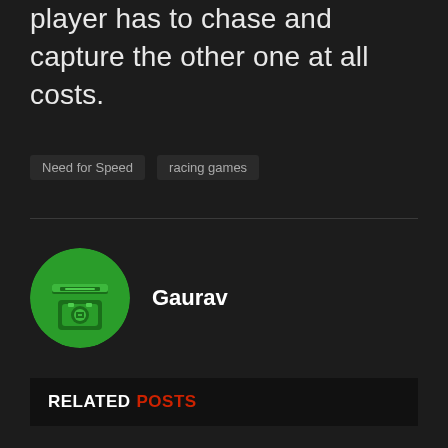player has to chase and capture the other one at all costs.
Need for Speed
racing games
Gaurav
RELATED POSTS